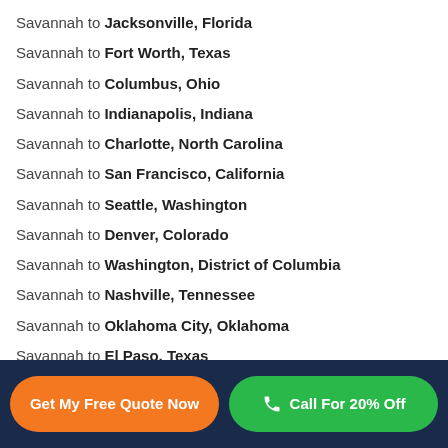Savannah to Jacksonville, Florida
Savannah to Fort Worth, Texas
Savannah to Columbus, Ohio
Savannah to Indianapolis, Indiana
Savannah to Charlotte, North Carolina
Savannah to San Francisco, California
Savannah to Seattle, Washington
Savannah to Denver, Colorado
Savannah to Washington, District of Columbia
Savannah to Nashville, Tennessee
Savannah to Oklahoma City, Oklahoma
Savannah to El Paso, Texas
Savannah to Boston, Massachusetts